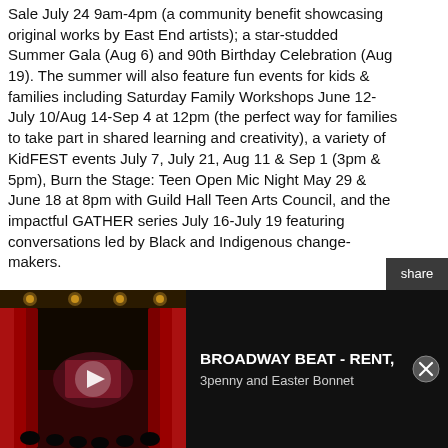Sale July 24 9am-4pm (a community benefit showcasing original works by East End artists); a star-studded Summer Gala (Aug 6) and 90th Birthday Celebration (Aug 19). The summer will also feature fun events for kids & families including Saturday Family Workshops June 12-July 10/Aug 14-Sep 4 at 12pm (the perfect way for families to take part in shared learning and creativity), a variety of KidFEST events July 7, July 21, Aug 11 & Sep 1 (3pm & 5pm), Burn the Stage: Teen Open Mic Night May 29 & June 18 at 8pm with Guild Hall Teen Arts Council, and the impactful GATHER series July 16-July 19 featuring conversations led by Black and Indigenous change-makers.
[Figure (screenshot): Share sidebar with Twitter and Facebook icons on dark background]
[Figure (screenshot): Bottom banner ad for Broadway Beat - RENT, 3penny and Easter Bonnet, showing a theatre stage with red curtains and a play button overlay]